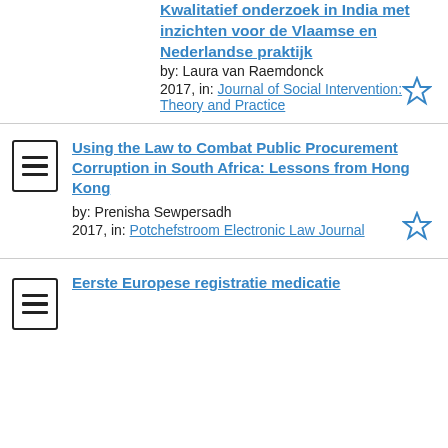Kwalitatief onderzoek in India met inzichten voor de Vlaamse en Nederlandse praktijk
by: Laura van Raemdonck
2017, in: Journal of Social Intervention: Theory and Practice
Using the Law to Combat Public Procurement Corruption in South Africa: Lessons from Hong Kong
by: Prenisha Sewpersadh
2017, in: Potchefstroom Electronic Law Journal
Eerste Europese registratie medicatie